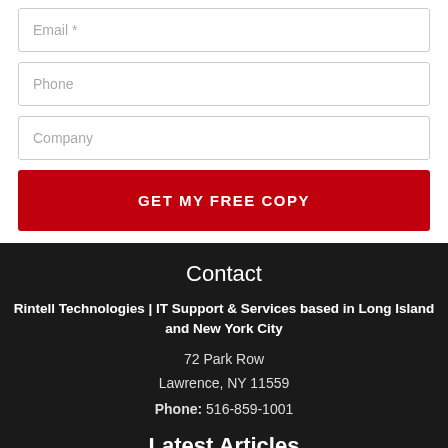[Figure (screenshot): Web form with Email, Phone, Company input fields and a red GET MY FREE COPY button]
Contact
Rintell Technologies | IT Support & Services based in Long Island and New York City
72 Park Row
Lawrence, NY 11559
Phone: 516-859-1001
Latest Articles